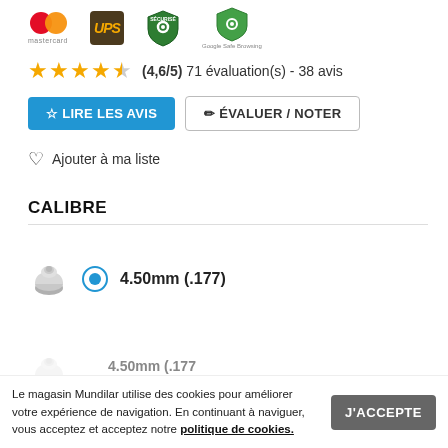[Figure (logo): Payment and security logos: Mastercard, UPS, green security shield, Google Safe Browsing]
★★★★½ (4,6/5) 71 évaluation(s) - 38 avis
☆ LIRE LES AVIS
✏ ÉVALUER / NOTER
♡ Ajouter à ma liste
CALIBRE
4.50mm (.177)
Le magasin Mundilar utilise des cookies pour améliorer votre expérience de navigation. En continuant à naviguer, vous acceptez et acceptez notre politique de cookies.
J'ACCEPTE